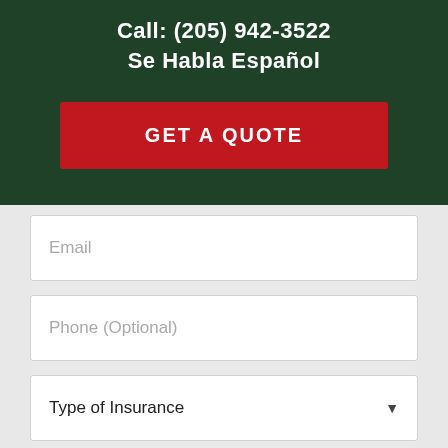Call: (205) 942-3522
Se Habla Español
GET A QUOTE
Email
Phone (Optional)
Type of Insurance
GET A QUOTE